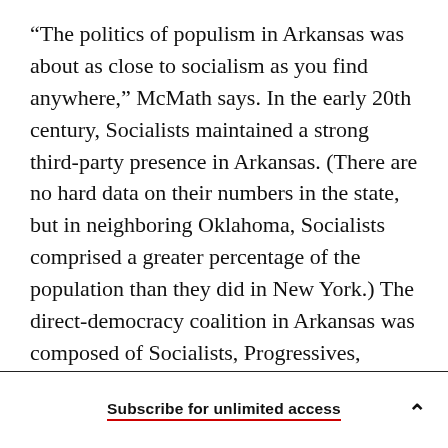“The politics of populism in Arkansas was about as close to socialism as you find anywhere,” McMath says. In the early 20th century, Socialists maintained a strong third-party presence in Arkansas. (There are no hard data on their numbers in the state, but in neighboring Oklahoma, Socialists comprised a greater percentage of the population than they did in New York.) The direct-democracy coalition in Arkansas was composed of Socialists, Progressives, Democrats, and the remaining Populists, who shared an anti-elite mindset in what has always been a poor, under-resourced
Subscribe for unlimited access